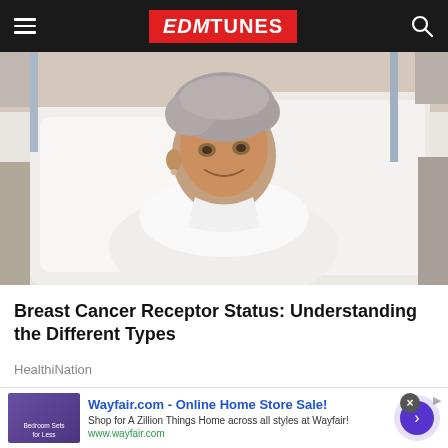EDMTunes navigation bar with hamburger menu, logo, and search icon
[Figure (photo): Elderly woman with short gray hair lying in a hospital bed, wearing a white gown, smiling and looking upward. White pillows in background.]
Breast Cancer Receptor Status: Understanding the Different Types
HealthiNation
[Figure (photo): Partial view of another article thumbnail at the bottom of the page]
Wayfair.com - Online Home Store Sale! Shop for A Zillion Things Home across all styles at Wayfair! www.wayfair.com